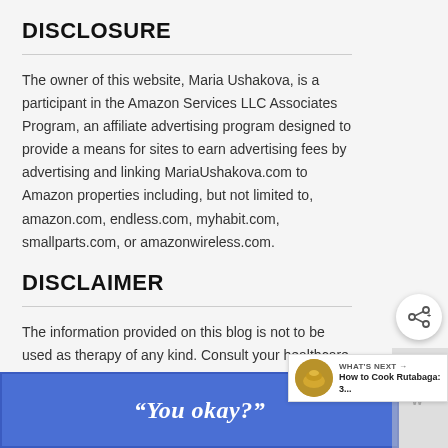DISCLOSURE
The owner of this website, Maria Ushakova, is a participant in the Amazon Services LLC Associates Program, an affiliate advertising program designed to provide a means for sites to earn advertising fees by advertising and linking MariaUshakova.com to Amazon properties including, but not limited to, amazon.com, endless.com, myhabit.com, smallparts.com, or amazonwireless.com.
DISCLAIMER
The information provided on this blog is not to be used as therapy of any kind. Consult your healthcare
[Figure (other): Share button (circular white button with share icon)]
[Figure (other): What's Next promotional widget showing 'How to Cook Rutabaga: 3...' with food thumbnail image]
[Figure (other): Ad overlay banner with text 'You okay?' in italic white text on blue background, with close X button]